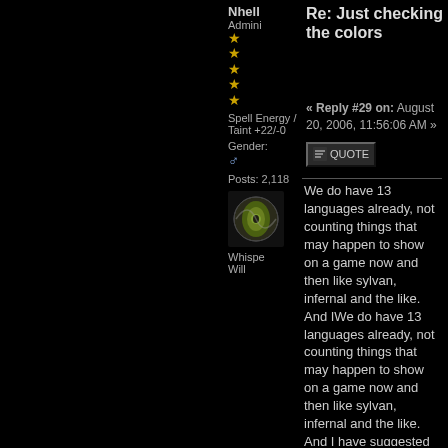Nhell
Admin
★★★★★
Spell Energy / Taint +22/-0
Gender: ♂
Posts: 2,118
Whisper Will
Re: Just checking the colors
« Reply #29 on: August 20, 2006, 11:56:06 AM »
We do have 13 languages already, not counting things that may happen to show on a game now and then like sylvan, infernal and the like. And IWe do have 13 languages already, not counting things that may happen to show on a game now and then like sylvan, infernal and the like. And I have suggested 23 available, those would show on the drop down menu of the full reply, you can choose to use any named color in your posts if you type the name manually, that site I linked has a damn lot